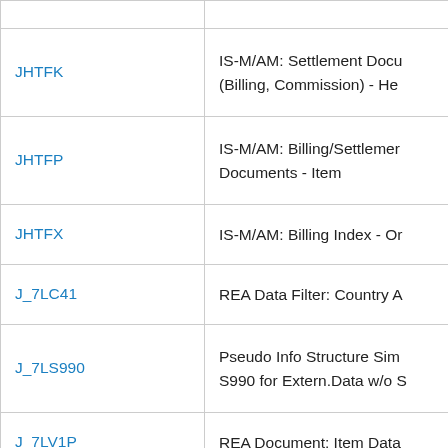| Code | Description |
| --- | --- |
| JHTFK | IS-M/AM: Settlement Docu (Billing, Commission) - He |
| JHTFP | IS-M/AM: Billing/Settlement Documents - Item |
| JHTFX | IS-M/AM: Billing Index - O |
| J_7LC41 | REA Data Filter: Country A |
| J_7LS990 | Pseudo Info Structure Sim S990 for Extern.Data w/o S |
| J_7LV1P | REA Document: Item Data |